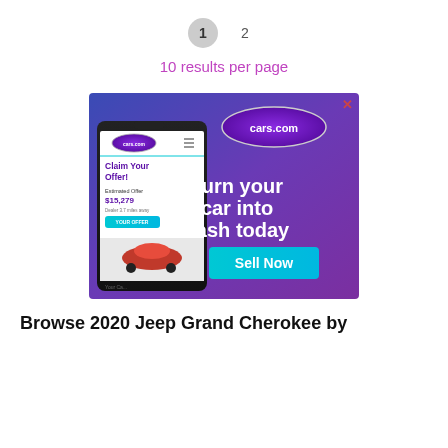1  2
10 results per page
[Figure (screenshot): cars.com advertisement banner showing a phone with 'Claim Your Offer! Estimated Offer $15,279 Dealer 3.7 miles away YOUR OFFER' and text 'Turn your car into cash today Sell Now']
Browse 2020 Jeep Grand Cherokee by